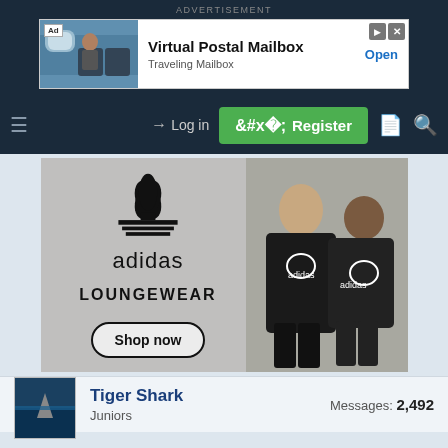ADVERTISEMENT
[Figure (screenshot): Banner advertisement for 'Virtual Postal Mailbox - Traveling Mailbox' with airplane interior image on left, Ad badge, play and close icons top right, and Open button in blue]
[Figure (screenshot): Navigation bar with hamburger menu, Log in link with arrow icon, green Register button with plus icon, document icon, and search icon, on dark navy background]
[Figure (photo): Adidas Loungewear advertisement showing the adidas trefoil logo, text LOUNGEWEAR, Shop now button, and two models wearing black adidas hoodies]
[Figure (photo): User avatar thumbnail showing shark/Jaws movie poster style image]
Tiger Shark
Juniors
Messages: 2,492